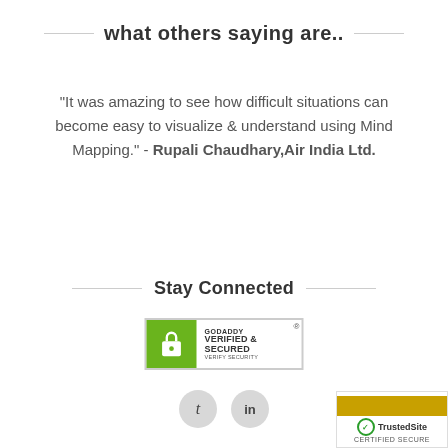what others saying are..
"It was amazing to see how difficult situations can become easy to visualize & understand using Mind Mapping." - Rupali Chaudhary,Air India Ltd.
Stay Connected
[Figure (logo): GoDaddy Verified & Secured badge with lock icon and green background]
[Figure (illustration): Two circular social media icons for Tumblr (t) and LinkedIn (in)]
[Figure (logo): TrustedSite Certified Secure badge with checkmark and gold header]